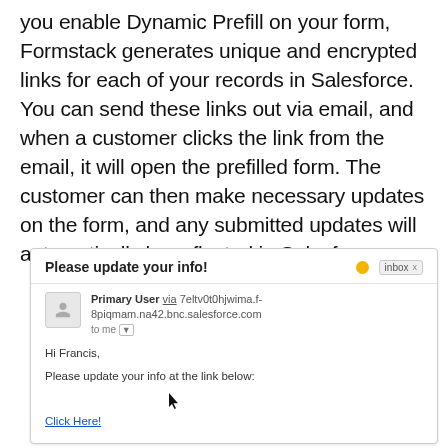you enable Dynamic Prefill on your form, Formstack generates unique and encrypted links for each of your records in Salesforce. You can send these links out via email, and when a customer clicks the link from the email, it will open the prefilled form. The customer can then make necessary updates on the form, and any submitted updates will automatically be reflected in Salesforce.
[Figure (screenshot): Screenshot of a Gmail email showing subject 'Please update your info!' with an inbox label, from Primary User via a Salesforce bounce address, to me, with body text 'Hi Francis, Please update your info at the link below:' and a 'Click Here!' hyperlink.]